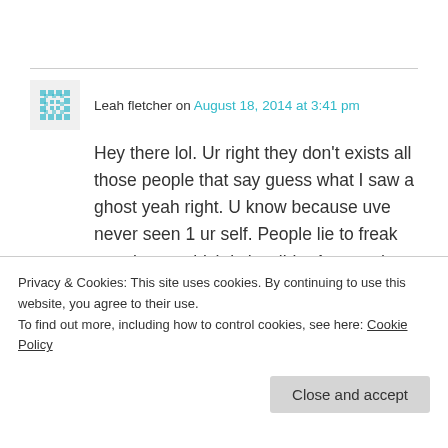Leah fletcher on August 18, 2014 at 3:41 pm
Hey there lol. Ur right they don't exists all those people that say guess what I saw a ghost yeah right. U know because uve never seen 1 ur self. People lie to freak people out which is horrible. Anyway how can they exist? It's a myth! I've never ever believed in ghosts it's pothetic xxx
★ Like
Privacy & Cookies: This site uses cookies. By continuing to use this website, you agree to their use.
To find out more, including how to control cookies, see here: Cookie Policy
Close and accept
it's see 2 its only a seeing things or someone